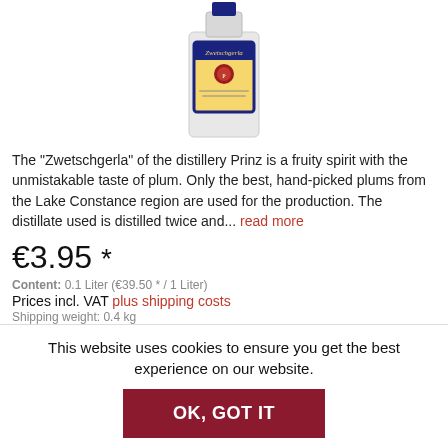[Figure (photo): Partial view of a Zwetschgerla plum spirit bottle from distillery Prinz, showing the label with yellow background and red wax seal]
The "Zwetschgerla" of the distillery Prinz is a fruity spirit with the unmistakable taste of plum. Only the best, hand-picked plums from the Lake Constance region are used for the production. The distillate used is distilled twice and... read more
€3.95 *
Content: 0.1 Liter (€39.50 * / 1 Liter)
Prices incl. VAT plus shipping costs
Shipping weight: 0.4 kg
This website uses cookies to ensure you get the best experience on our website.
OK, GOT IT